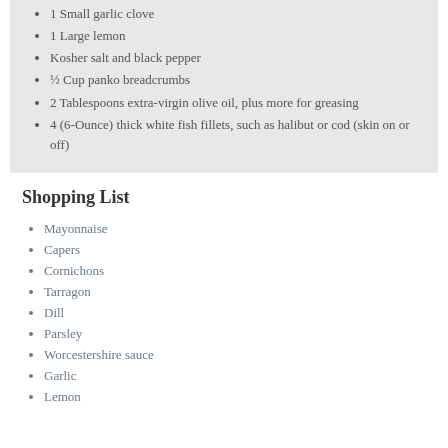1 Small garlic clove
1 Large lemon
Kosher salt and black pepper
½ Cup panko breadcrumbs
2 Tablespoons extra-virgin olive oil, plus more for greasing
4 (6-Ounce) thick white fish fillets, such as halibut or cod (skin on or off)
Shopping List
Mayonnaise
Capers
Cornichons
Tarragon
Dill
Parsley
Worcestershire sauce
Garlic
Lemon